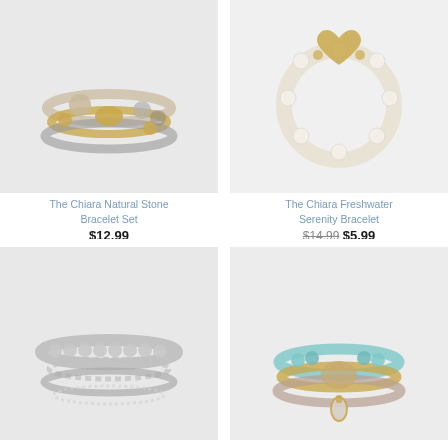[Figure (photo): The Chiara Natural Stone Bracelet Set — stacked bracelets with gold and grey/beige stone beads on light grey background]
The Chiara Natural Stone Bracelet Set
$12.99
[Figure (photo): The Chiara Freshwater Serenity Bracelet — white pearl beads with gold heart charm on white background]
The Chiara Freshwater Serenity Bracelet
$14.99  $5.99
[Figure (photo): Silver bead and chain bracelet set — multiple silver bracelets including ball bead, chain link, and twisted rope styles]
[Figure (photo): Beaded bracelet set with turquoise, gold, and stone beads with a teardrop gemstone pendant charm]